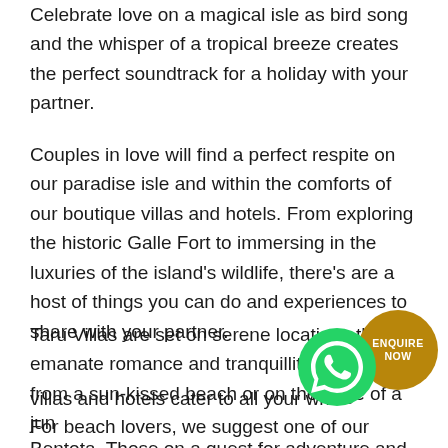Celebrate love on a magical isle as bird song and the whisper of a tropical breeze creates the perfect soundtrack for a holiday with your partner.
Couples in love will find a perfect respite on our paradise isle and within the comforts of our boutique villas and hotels. From exploring the historic Galle Fort to immersing in the luxuries of the island’s wildlife, there’s are a host of things you can do and experiences to share with your partner.
Taru Villas are set on serene locations that emanate romance and tranquillity. Steps away from a sun-kissed beach or on the edge of a jungle or botanical villas and hotels cater to all your whims and fancies. For beach lovers, we suggest one of our properties in Bentota. Those on a quest for adventure and
[Figure (logo): WhatsApp green circular icon with phone handset symbol]
[Figure (logo): Golden circular button with text ENQUIRE NOW]